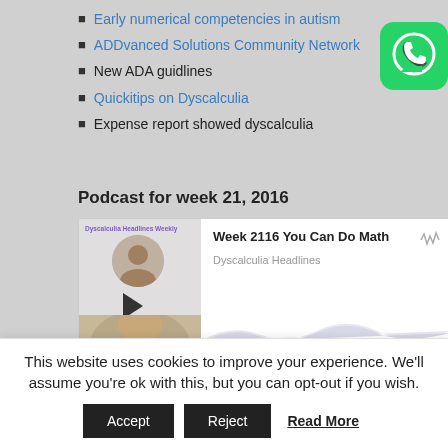Early numerical competencies in autism
ADDvanced Solutions Community Network
New ADA guidlines
Quickitips on Dyscalculia
Expense report showed dyscalculia
[Figure (logo): WhatsApp green icon with speech bubble and phone]
Podcast for week 21, 2016
[Figure (screenshot): Podcast player widget showing 'Week 2116 You Can Do Math' by Dyscalculia Headlines, with play button and waveform]
Links discussed in this podcast
This website uses cookies to improve your experience. We'll assume you're ok with this, but you can opt-out if you wish.